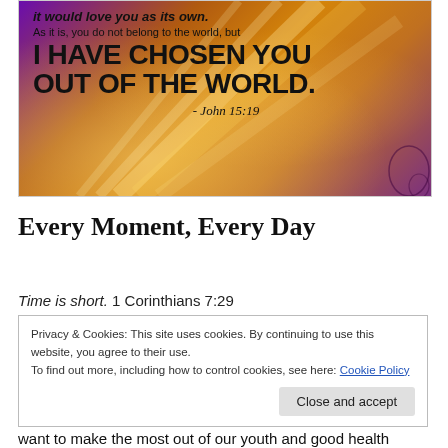[Figure (illustration): Bible verse image with gradient purple-orange background and light rays. Text reads: 'it would love you as its own. As it is, you do not belong to the world, but I HAVE CHOSEN YOU OUT OF THE WORLD. - John 15:19']
Every Moment, Every Day
Time is short. 1 Corinthians 7:29
Privacy & Cookies: This site uses cookies. By continuing to use this website, you agree to their use.
To find out more, including how to control cookies, see here: Cookie Policy
[Close and accept button]
want to make the most out of our youth and good health